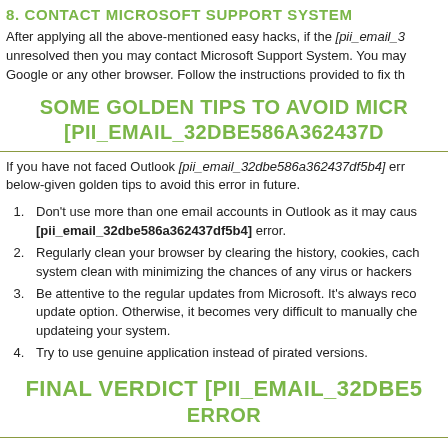8. CONTACT MICROSOFT SUPPORT SYSTEM
After applying all the above-mentioned easy hacks, if the [pii_email_3… unresolved then you may contact Microsoft Support System. You may… Google or any other browser. Follow the instructions provided to fix th…
SOME GOLDEN TIPS TO AVOID MICR… [PII_EMAIL_32DBE586A362437D…
If you have not faced Outlook [pii_email_32dbe586a362437df5b4] err… below-given golden tips to avoid this error in future.
Don't use more than one email accounts in Outlook as it may caus… [pii_email_32dbe586a362437df5b4] error.
Regularly clean your browser by clearing the history, cookies, cach… system clean with minimizing the chances of any virus or hackers…
Be attentive to the regular updates from Microsoft. It's always reco… update option. Otherwise, it becomes very difficult to manually che… updateing your system.
Try to use genuine application instead of pirated versions.
FINAL VERDICT [PII_EMAIL_32DBE5… ERROR